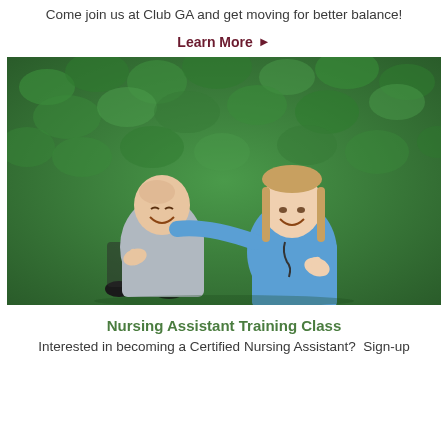Come join us at Club GA and get moving for better balance!
Learn More ▶
[Figure (photo): An elderly man in a wheelchair and a young female nurse in blue scrubs both giving thumbs up, smiling, in front of a green hedge background.]
Nursing Assistant Training Class
Interested in becoming a Certified Nursing Assistant?  Sign-up